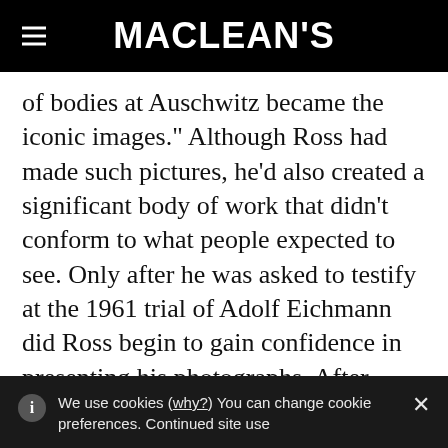MACLEAN'S
of bodies at Auschwitz became the iconic images.” Although Ross had made such pictures, he’d also created a significant body of work that didn’t conform to what people expected to see. Only after he was asked to testify at the 1961 trial of Adolf Eichmann did Ross begin to gain confidence in presenting his photographs. After sitting face to face with the SS officer who played a key role in the Holocaust, Ross recalled, “everything came back to life.”
We use cookies (why?) You can change cookie preferences. Continued site use